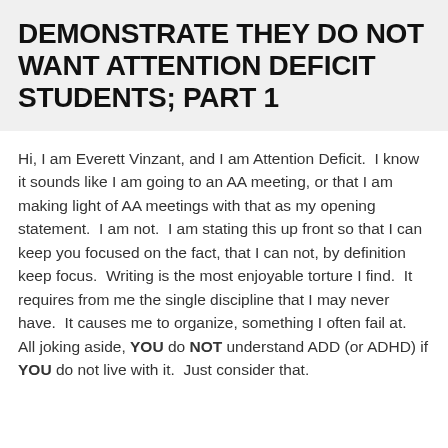DEMONSTRATE THEY DO NOT WANT ATTENTION DEFICIT STUDENTS; PART 1
Hi, I am Everett Vinzant, and I am Attention Deficit.  I know it sounds like I am going to an AA meeting, or that I am making light of AA meetings with that as my opening statement.  I am not.  I am stating this up front so that I can keep you focused on the fact, that I can not, by definition keep focus.  Writing is the most enjoyable torture I find.  It requires from me the single discipline that I may never have.  It causes me to organize, something I often fail at.  All joking aside, YOU do NOT understand ADD (or ADHD) if YOU do not live with it.  Just consider that.